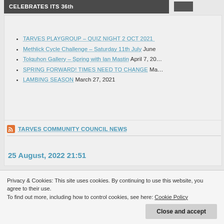CELEBRATES ITS 36th
HEADLINES
TARVES PLAYGROUP – QUIZ NIGHT 2 OCT 2021
Methlick Cycle Challenge – Saturday 11th July June
Tolquhon Gallery – Spring with Ian Mastin April 7, 20…
SPRING FORWARD! TIMES NEED TO CHANGE Ma…
LAMBING SEASON March 27, 2021
TARVES COMMUNITY COUNCIL NEWS
25 August, 2022 21:51
Privacy & Cookies: This site uses cookies. By continuing to use this website, you agree to their use.
To find out more, including how to control cookies, see here: Cookie Policy
Close and accept
26 June, 2022 22:22